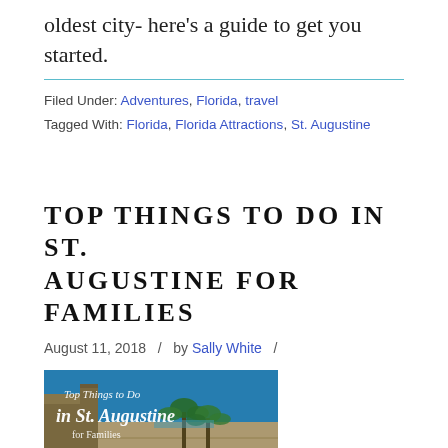oldest city- here’s a guide to get you started.
Filed Under: Adventures, Florida, travel
Tagged With: Florida, Florida Attractions, St. Augustine
TOP THINGS TO DO IN ST. AUGUSTINE FOR FAMILIES
August 11, 2018   /   by Sally White   /
[Figure (photo): Book cover or graphic image showing 'Top Things to Do in St. Augustine for Families' text overlaid on a photo of a historic stone fort wall (Castillo de San Marcos) with palm trees and blue sky]